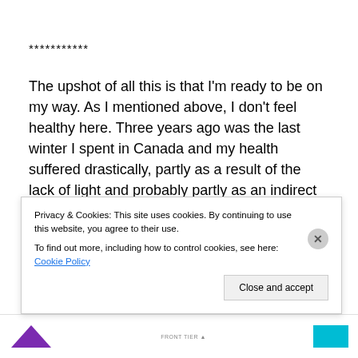***********
The upshot of all this is that I'm ready to be on my way. As I mentioned above, I don't feel healthy here. Three years ago was the last winter I spent in Canada and my health suffered drastically, partly as a result of the lack of light and probably partly as an indirect result of depression induced by coming out of a major break-up. From what I understand, Berlin's weather is more comparable to southern Ontario's weather than it is to Latin America's
Privacy & Cookies: This site uses cookies. By continuing to use this website, you agree to their use.
To find out more, including how to control cookies, see here: Cookie Policy
Close and accept